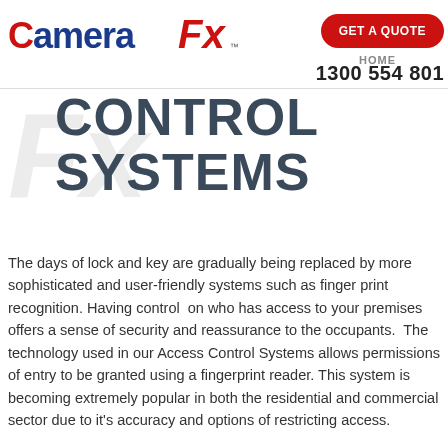Camera Fx GET A QUOTE HOME 1300 554 801
CONTROL SYSTEMS
The days of lock and key are gradually being replaced by more sophisticated and user-friendly systems such as finger print recognition. Having control  on who has access to your premises offers a sense of security and reassurance to the occupants.  The technology used in our Access Control Systems allows permissions of entry to be granted using a fingerprint reader. This system is becoming extremely popular in both the residential and commercial sector due to it's accuracy and options of restricting access.